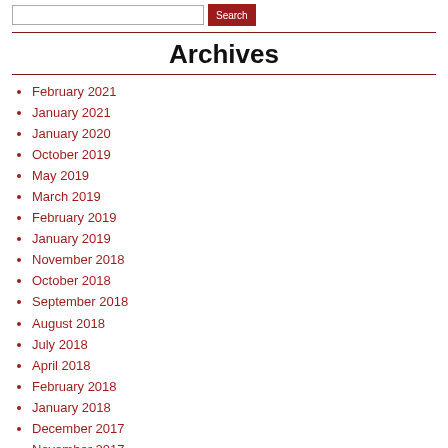Search bar with input and Search button
Archives
February 2021
January 2021
January 2020
October 2019
May 2019
March 2019
February 2019
January 2019
November 2018
October 2018
September 2018
August 2018
July 2018
April 2018
February 2018
January 2018
December 2017
November 2017
October 2017
September 2017
August 2017
July 2017